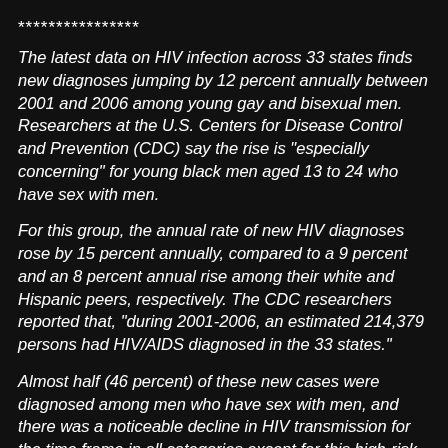****************
The latest data on HIV infection across 33 states finds new diagnoses jumping by 12 percent annually between 2001 and 2006 among young gay and bisexual men. Researchers at the U.S. Centers for Disease Control and Prevention (CDC) say the rise is "especially concerning" for young black men aged 13 to 24 who have sex with men.
For this group, the annual rate of new HIV diagnoses rose by 15 percent annually, compared to a 9 percent and an 8 percent annual rise among their white and Hispanic peers, respectively. The CDC researchers reported that, "during 2001-2006, an estimated 214,379 persons had HIV/AIDS diagnosed in the 33 states."
Almost half (46 percent) of these new cases were diagnosed among men who have sex with men, and there was a noticeable decline in HIV transmission for the time frame in all categories except for this high-risk group, the report found.
Overall, among black men who are at risk...